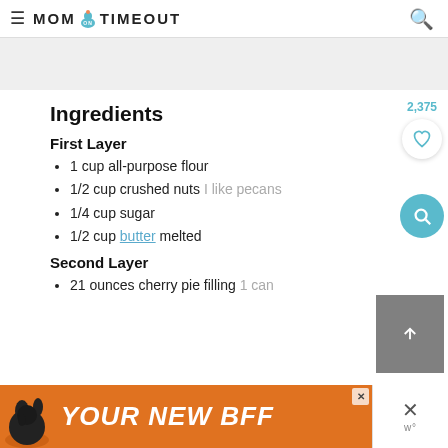MOM ON TIMEOUT
Ingredients
First Layer
1 cup all-purpose flour
1/2 cup crushed nuts I like pecans
1/4 cup sugar
1/2 cup butter melted
Second Layer
21 ounces cherry pie filling 1 can
[Figure (other): Orange advertisement bar with dog graphic and text YOUR NEW BFF]